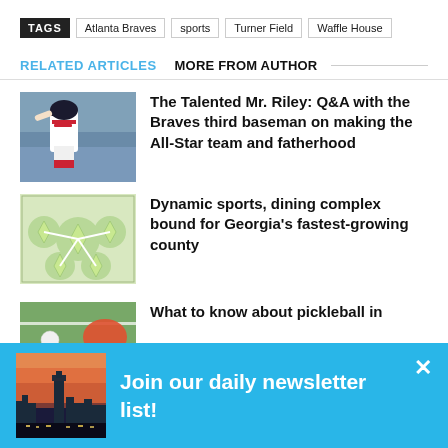TAGS  Atlanta Braves  sports  Turner Field  Waffle House
RELATED ARTICLES   MORE FROM AUTHOR
The Talented Mr. Riley: Q&A with the Braves third baseman on making the All-Star team and fatherhood
[Figure (photo): Baseball player in Braves uniform pitching]
Dynamic sports, dining complex bound for Georgia's fastest-growing county
[Figure (map): Aerial/site map showing sports complex layout with green fields]
What to know about pickleball in
[Figure (photo): Partial pickleball court/paddle image]
Join our daily newsletter list!
[Figure (photo): Atlanta skyline at sunset with city lights]